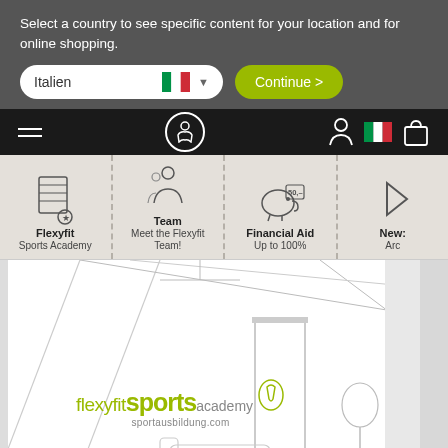Select a country to see specific content for your location and for online shopping.
[Figure (screenshot): Country selector dropdown showing 'Italien' with Italian flag, and a green 'Continue >' button]
[Figure (screenshot): Navigation bar with hamburger menu, centered logo circle with running figure, and right-side icons for user, Italian flag, and shopping bag]
[Figure (infographic): Category navigation strip showing: Flexyfit Sports Academy, Team Meet the Flexyfit Team!, Financial Aid Up to 100%, and New: Arc]
[Figure (illustration): Line-art illustration of a modern sports academy interior with the 'flexyfit sports academy sportausbildung.com' brand logo overlaid in green]